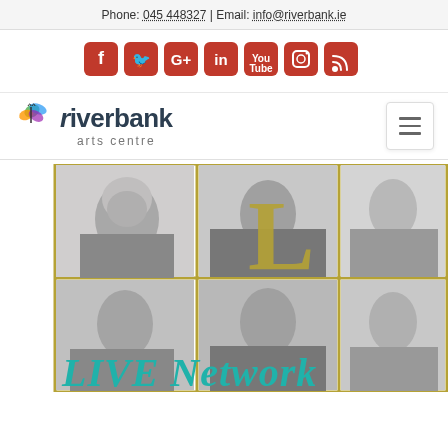Phone: 045 448327 | Email: info@riverbank.ie
[Figure (other): Social media icons row: Facebook, Twitter, Google+, LinkedIn, YouTube, Instagram, RSS - all red rounded square icons]
[Figure (logo): Riverbank Arts Centre logo with butterfly graphic, text 'riverbank arts centre' and hamburger menu icon on right]
[Figure (photo): Grid of 6 black and white portrait photos of artists/performers arranged in 2 rows of 3, with a large gold letter 'L' overlaid in the center, and 'LIVE Network' text in teal at the bottom]